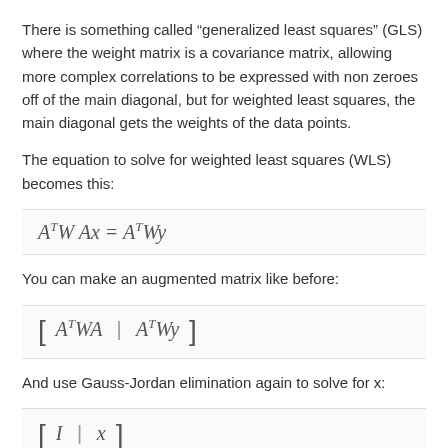There is something called “generalized least squares” (GLS) where the weight matrix is a covariance matrix, allowing more complex correlations to be expressed with non zeroes off of the main diagonal, but for weighted least squares, the main diagonal gets the weights of the data points.
The equation to solve for weighted least squares (WLS) becomes this:
You can make an augmented matrix like before:
And use Gauss-Jordan elimination again to solve for x:
Examples